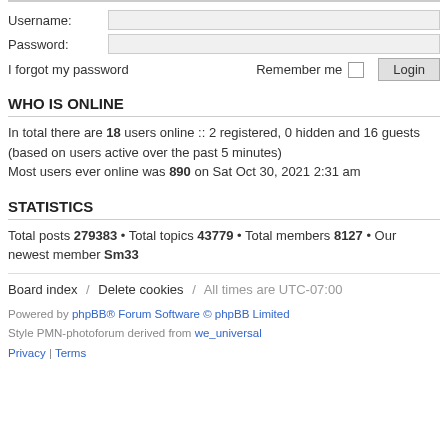Username: [input field]
Password: [input field]
I forgot my password   Remember me [ ] Login
WHO IS ONLINE
In total there are 18 users online :: 2 registered, 0 hidden and 16 guests (based on users active over the past 5 minutes)
Most users ever online was 890 on Sat Oct 30, 2021 2:31 am
STATISTICS
Total posts 279383 • Total topics 43779 • Total members 8127 • Our newest member Sm33
Board index / Delete cookies / All times are UTC-07:00
Powered by phpBB® Forum Software © phpBB Limited
Style PMN-photoforum derived from we_universal
Privacy | Terms